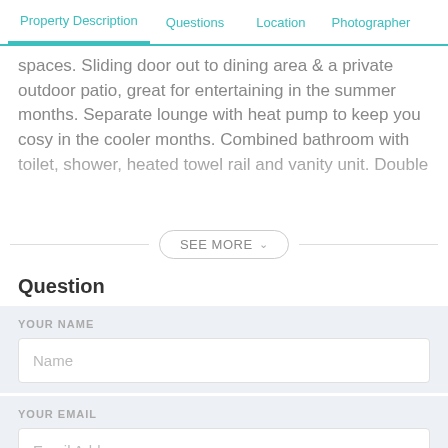Property Description   Questions   Location   Photographer
spaces. Sliding door out to dining area & a private outdoor patio, great for entertaining in the summer months. Separate lounge with heat pump to keep you cosy in the cooler months. Combined bathroom with toilet, shower, heated towel rail and vanity unit. Double...
SEE MORE
Question
YOUR NAME
Name
YOUR EMAIL
Email Address